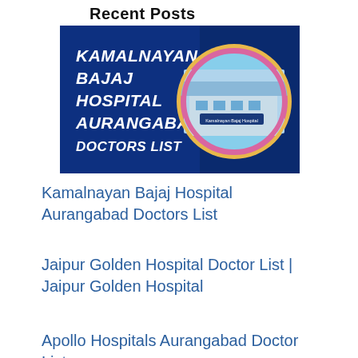Recent Posts
[Figure (illustration): Hospital promotional image for Kamalnayan Bajaj Hospital Aurangabad Doctors List — dark blue background with white bold italic text on the left reading 'KAMALNAYAN BAJAJ HOSPITAL AURANGABAD DOCTORS LIST', and a circular photo of the hospital building exterior on the right with a pink/gold ring border.]
Kamalnayan Bajaj Hospital Aurangabad Doctors List
Jaipur Golden Hospital Doctor List | Jaipur Golden Hospital
Apollo Hospitals Aurangabad Doctor List